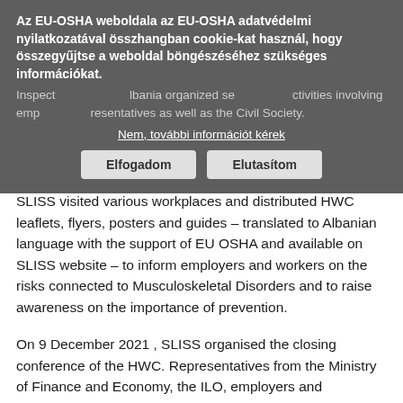Az EU-OSHA weboldala az EU-OSHA adatvédelmi nyilatkozatával összhangban cookie-kat használ, hogy összegyűjtse a weboldal böngészéséhez szükséges információkat.
Nem, további információt kérek | Elfogadom | Elutasítom
SLISS visited various workplaces and distributed HWC leaflets, flyers, posters and guides – translated to Albanian language with the support of EU OSHA and available on SLISS website – to inform employers and workers on the risks connected to Musculoskeletal Disorders and to raise awareness on the importance of prevention.
On 9 December 2021 , SLISS organised the closing conference of the HWC. Representatives from the Ministry of Finance and Economy, the ILO, employers and employees organisations, Trade